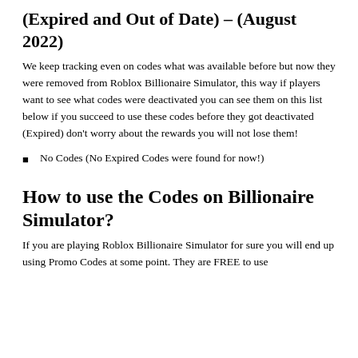(Expired and Out of Date) – (August 2022)
We keep tracking even on codes what was available before but now they were removed from Roblox Billionaire Simulator, this way if players want to see what codes were deactivated you can see them on this list below if you succeed to use these codes before they got deactivated (Expired) don't worry about the rewards you will not lose them!
No Codes (No Expired Codes were found for now!)
How to use the Codes on Billionaire Simulator?
If you are playing Roblox Billionaire Simulator for sure you will end up using Promo Codes at some point. They are FREE to use for anyone but to use you need to be...